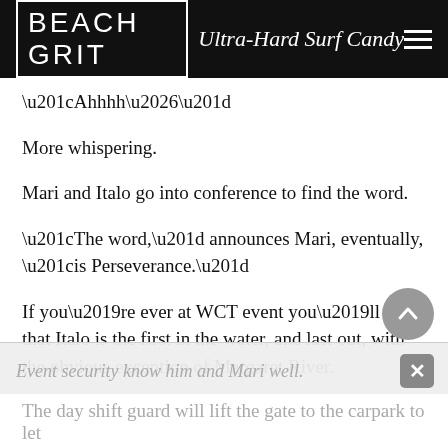BEACH GRIT Ultra-Hard Surf Candy
“Ahhhh…”
More whispering.
Mari and Italo go into conference to find the word.
“The word,” announces Mari, eventually, “is Perseverance.”
If you’re ever at WCT event you’ll note that Italo is the first in the water, and last out, with the obvious exception of Margaret River.
Event security know him and Mari well.
The day shift guard will lift the gate to the carpark to let